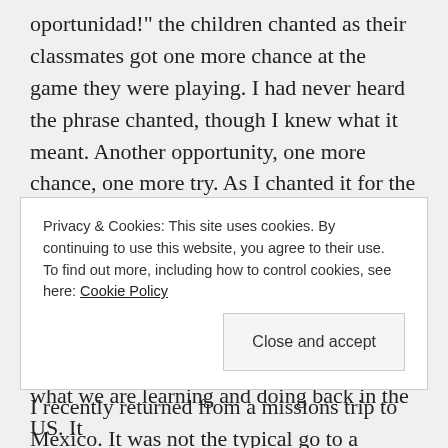oportunidad!" the children chanted as their classmates got one more chance at the game they were playing. I had never heard the phrase chanted, though I knew what it meant. Another opportunity, one more chance, one more try. As I chanted it for the next round of children to try again, I couldn't help but think how that is often the chant of my heart. Give me another opportunity, one more chance, let me try again.

I recently returned from a missions trip to Mexico. It was not the typical go to a different country and
Privacy & Cookies: This site uses cookies. By continuing to use this website, you agree to their use.
To find out more, including how to control cookies, see here: Cookie Policy
Close and accept
what we are learning and doing back in the US. It